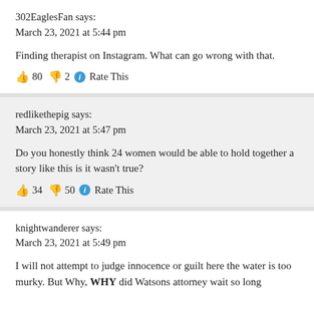302EaglesFan says:
March 23, 2021 at 5:44 pm
Finding therapist on Instagram. What can go wrong with that.
👍 80 👎 2 ℹ Rate This
redlikethepig says:
March 23, 2021 at 5:47 pm
Do you honestly think 24 women would be able to hold together a story like this is it wasn't true?
👍 34 👎 50 ℹ Rate This
knightwanderer says:
March 23, 2021 at 5:49 pm
I will not attempt to judge innocence or guilt here the water is too murky. But Why, WHY did Watsons attorney wait so long